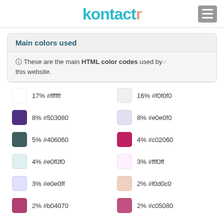kontactr
Main colors used
ℹ These are the main HTML color codes used by this website.
| Swatch | Color |
| --- | --- |
| #ffffff | 17% #ffffff |
| #f0f0f0 | 16% #f0f0f0 |
| #503080 | 8% #503080 |
| #e0e0f0 | 8% #e0e0f0 |
| #406060 | 5% #406060 |
| #c02060 | 4% #c02060 |
| #e0f0f0 | 4% #e0f0f0 |
| #fff0ff | 3% #fff0ff |
| #e0e0ff | 3% #e0e0ff |
| #f0d0c0 | 2% #f0d0c0 |
| #b04070 | 2% #b04070 |
| #c05080 | 2% #c05080 |